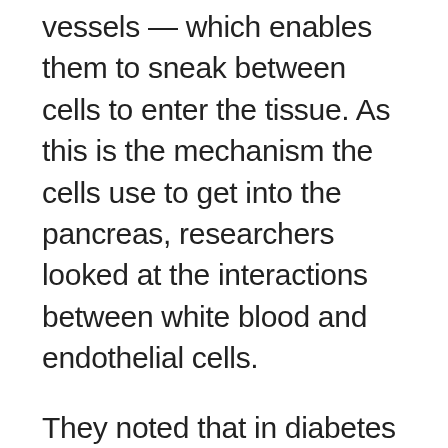vessels — which enables them to sneak between cells to enter the tissue. As this is the mechanism the cells use to get into the pancreas, researchers looked at the interactions between white blood and endothelial cells.
They noted that in diabetes patients, the inflammatory cells tended to stick more to endothelial cells. MitoQ normalized the interactions between the two cell types in patients, but again, did not disturb the healthy balance in controls.
The same thing was seen when researchers inspected the levels of